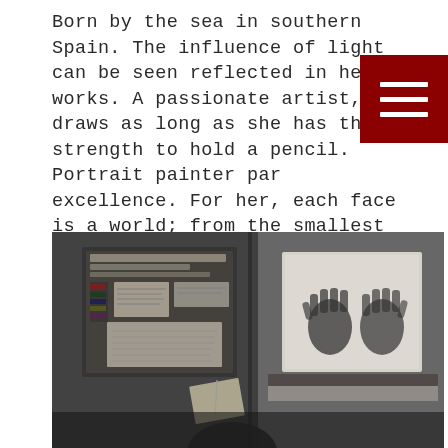Born by the sea in southern Spain. The influence of light can be seen reflected in her works. A passionate artist, she draws as long as she has the strength to hold a pencil. Portrait painter par excellence. For her, each face is a world; from the smallest detail of leather, to everything it is capable of expressing. She goes through them in order to transfer it to her painting.
[Figure (photo): Black and white photograph of an artist's studio interior, showing a cork board with papers pinned to it on the left, and a canvas with two handprints visible on the right side. A figure's head is partially visible at the bottom.]